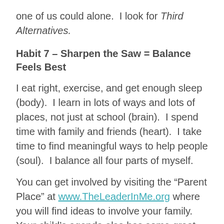one of us could alone.  I look for Third Alternatives.
Habit 7 – Sharpen the Saw = Balance Feels Best
I eat right, exercise, and get enough sleep (body).  I learn in lots of ways and lots of places, not just at school (brain).  I spend time with family and friends (heart).  I take time to find meaningful ways to help people (soul).  I balance all four parts of myself.
You can get involved by visiting the “Parent Place” at www.TheLeaderInMe.org where you will find ideas to involve your family.  Your child’s agenda also has some great information about the Leader in Me. Pl...